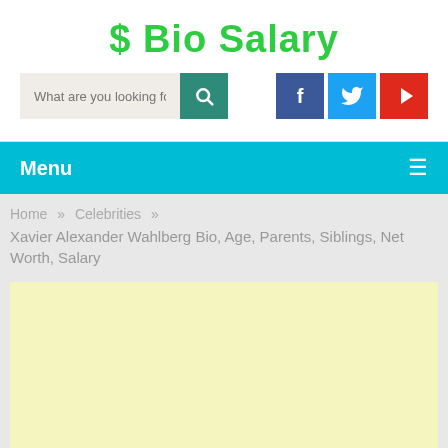$ Bio Salary
[Figure (screenshot): Website header with search bar and social media icons (Facebook, Twitter, YouTube)]
Menu
Home » Celebrities »
Xavier Alexander Wahlberg Bio, Age, Parents, Siblings, Net Worth, Salary
[Figure (other): Advertisement placeholder area with light yellow background]